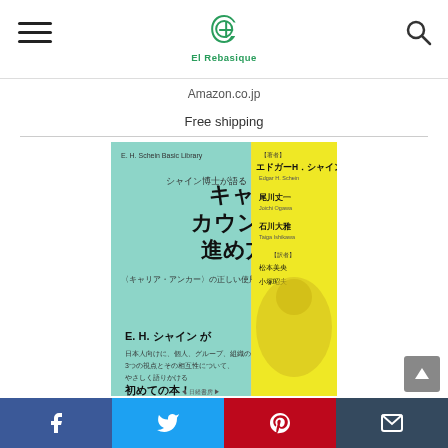Rebasique - Amazon.co.jp - Free shipping
Amazon.co.jp
Free shipping
[Figure (photo): Book cover: キャリア・カウンセリングの進め方 (Career Counseling Methods) by E.H. Schein, published by Nikkei. Light blue and yellow cover with Japanese text and author names including エドガーH.シャイン, 尾川丈一, 石川大雅.]
Facebook Twitter Pinterest Email social share bar